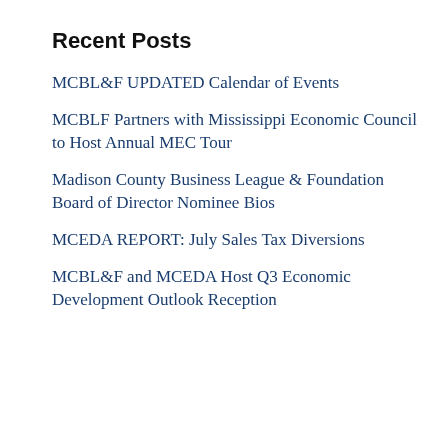Recent Posts
MCBL&F UPDATED Calendar of Events
MCBLF Partners with Mississippi Economic Council to Host Annual MEC Tour
Madison County Business League & Foundation Board of Director Nominee Bios
MCEDA REPORT: July Sales Tax Diversions
MCBL&F and MCEDA Host Q3 Economic Development Outlook Reception